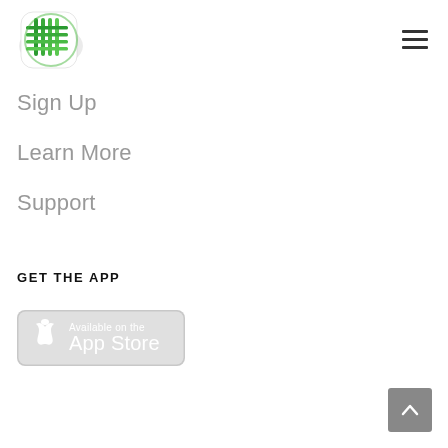[Figure (logo): Green grid/circuit board style logo icon with horizontal lines forming a rounded square shape]
[Figure (other): Hamburger menu icon — three horizontal lines stacked]
Sign Up
Learn More
Support
GET THE APP
[Figure (other): Apple App Store download badge — white Apple logo and text 'Available on the App Store' on a light gray rounded rectangle background]